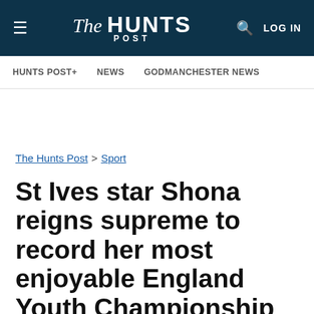The Hunts Post — LOG IN
HUNTS POST+   NEWS   GODMANCHESTER NEWS
The Hunts Post > Sport
St Ives star Shona reigns supreme to record her most enjoyable England Youth Championship triumph yet